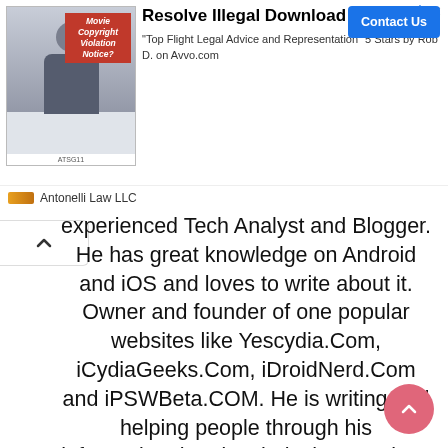[Figure (screenshot): Advertisement banner: 'Resolve Illegal Download Suit' by Antonelli Law LLC with Contact Us button]
experienced Tech Analyst and Blogger. He has great knowledge on Android and iOS and loves to write about it. Owner and founder of one popular websites like Yescydia.Com, iCydiaGeeks.Com, iDroidNerd.Com and iPSWBeta.COM. He is writing and helping people through his informational and technical posts since 2014.